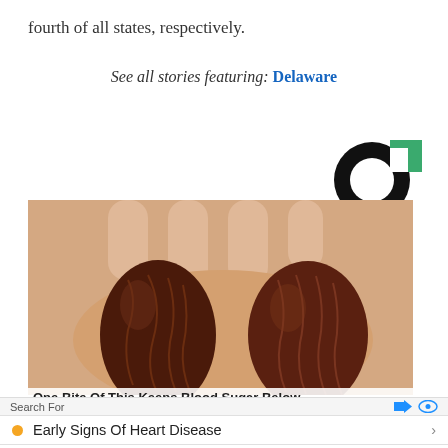fourth of all states, respectively.
See all stories featuring: Delaware
[Figure (logo): Circular logo with black ring and green square accent]
[Figure (photo): A hand holding two dark brown dates (fruit)]
One Bite Of This Keeps Blood Sugar Below
Search For
Early Signs Of Heart Disease
Female Heart Attack Symptoms